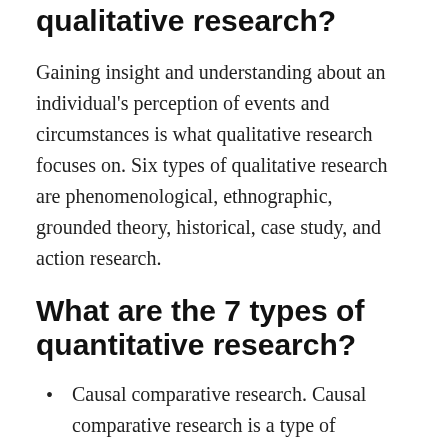qualitative research?
Gaining insight and understanding about an individual's perception of events and circumstances is what qualitative research focuses on. Six types of qualitative research are phenomenological, ethnographic, grounded theory, historical, case study, and action research.
What are the 7 types of quantitative research?
Causal comparative research. Causal comparative research is a type of research.